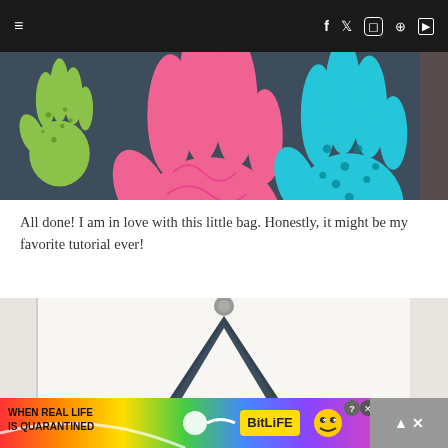Navigation bar with hamburger menu and social icons (Facebook, Twitter, Instagram, Pinterest, YouTube)
[Figure (photo): Close-up photo of fabric handprint cutouts on dark denim background: a yellow-green polka dot hand on left, a large pink/coral swirl-patterned hand in center, and a teal polka dot hand on right]
All done! I am in love with this little bag. Honestly, it might be my favorite tutorial ever!
[Figure (photo): Photo of a dark denim tote bag hanging on a white door hook, showing the bag handles converging at the top, with the front panel partially visible]
[Figure (other): Advertisement banner: rainbow gradient background with text 'WHEN REAL LIFE IS QUARANTINED' and BitLife game logo with emoji characters]